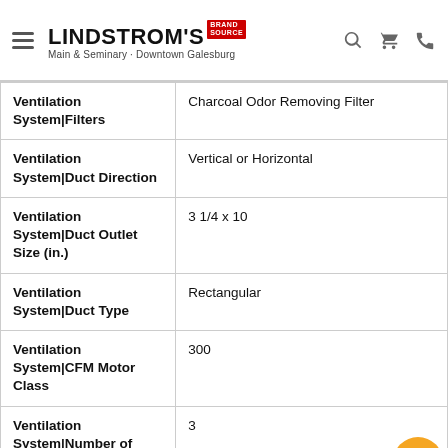LINDSTROM'S Brand Source – Main & Seminary · Downtown Galesburg
| Attribute | Value |
| --- | --- |
| Ventilation System|Filters | Charcoal Odor Removing Filter |
| Ventilation System|Duct Direction | Vertical or Horizontal |
| Ventilation System|Duct Outlet Size (in.) | 3 1/4 x 10 |
| Ventilation System|Duct Type | Rectangular |
| Ventilation System|CFM Motor Class | 300 |
| Ventilation System|Number of Speeds | 3 |